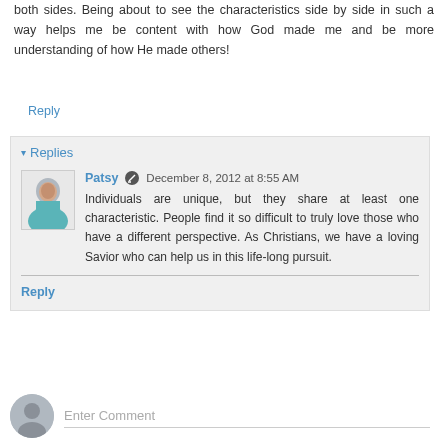both sides. Being about to see the characteristics side by side in such a way helps me be content with how God made me and be more understanding of how He made others!
Reply
Replies
Patsy  December 8, 2012 at 8:55 AM
Individuals are unique, but they share at least one characteristic. People find it so difficult to truly love those who have a different perspective. As Christians, we have a loving Savior who can help us in this life-long pursuit.
Reply
Enter Comment